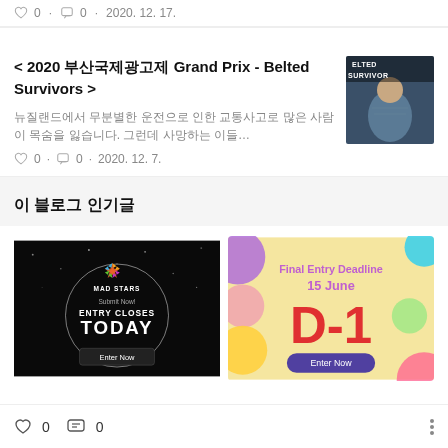♡ 0 · 🗨 0 · 2020. 12. 17.
< 2020 부산국제광고제 Grand Prix - Belted Survivors >
뉴질랜드에서 무분별한 운전으로 인한 교통사고로 많은 사람이 목숨을 잃습니다. 그런데 사망하는 이들…
♡ 0 · 🗨 0 · 2020. 12. 7.
[Figure (photo): Belted Survivors advertisement image showing a tattooed shirtless man]
이 블로그 인기글
[Figure (photo): MAD STARS Submit Now! ENTRY CLOSES TODAY Enter Now - dark background with star logo]
[Figure (photo): Final Entry Deadline 15 June D-1 Enter Now - colorful background]
♡ 0   💬 0   ⋮